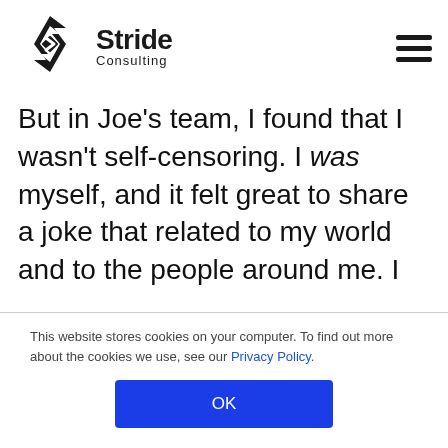[Figure (logo): Stride Consulting logo with diamond/arrow icon and text 'Stride Consulting']
But in Joe’s team, I found that I wasn’t self-censoring. I was myself, and it felt great to share a joke that related to my world and to the people around me. I
This website stores cookies on your computer. To find out more about the cookies we use, see our Privacy Policy.
OK